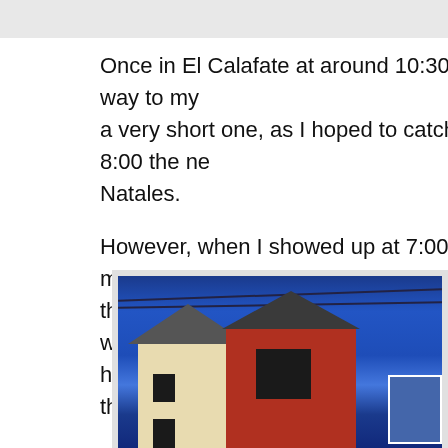Once in El Calafate at around 10:30 I found my way to my a very short one, as I hoped to catch the bus at 8:00 the ne Natales.
However, when I showed up at 7:00 a.m. the next morning that all the seats on the one bus going that day were sold. hoping that someone would not show up to claim their sea
[Figure (photo): A photograph taken at dusk or dawn showing buildings against a deep blue sky. On the left is a two-story building with cream/yellow walls and a dark peaked roof. To the right is a taller red-walled building with a dark peaked roof. There is a fence in the foreground, power lines visible against the sky, and a blue sign board on the right side of the red building.]